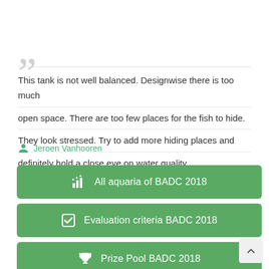This tank is not well balanced. Designwise there is too much open space. There are too few places for the fish to hide. They look stressed. Try to add more hiding places and definitely hold a close eye on water quality.
Jeroen Vanhooren
All aquaria of BADC 2018
Evaluation criteria BADC 2018
Prize Pool BADC 2018
Biotopes and aquaria VIDEO